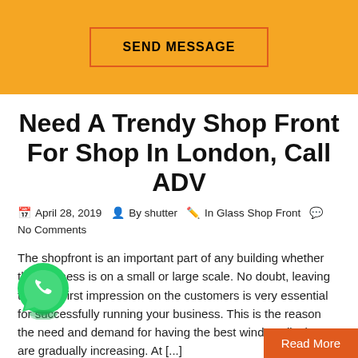[Figure (other): Orange banner with SEND MESSAGE button outlined in orange-red border]
Need A Trendy Shop Front For Shop In London, Call ADV
April 28, 2019  By shutter  In Glass Shop Front  No Comments
The shopfront is an important part of any building whether the business is on a small or large scale. No doubt, leaving the best first impression on the customers is very essential for successfully running your business. This is the reason the need and demand for having the best window display are gradually increasing. At [...]